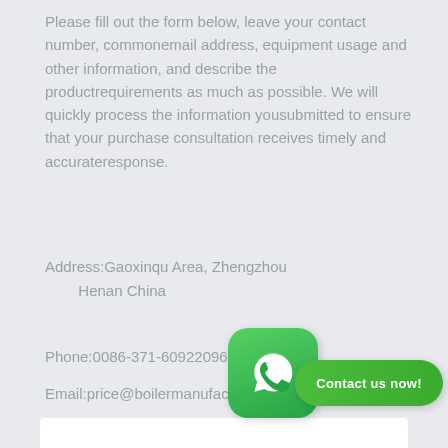Please fill out the form below, leave your contact number, commonemail address, equipment usage and other information, and describe the productrequirements as much as possible. We will quickly process the information yousubmitted to ensure that your purchase consultation receives timely and accurateresponse.
Address:Gaoxinqu Area, Zhengzhou Henan China
Phone:0086-371-60922096
Email:price@boilermanufactory.com
[Figure (illustration): WhatsApp icon button (green rounded square with white phone handset logo) overlapping a green pill-shaped button labeled 'Contact us now!']